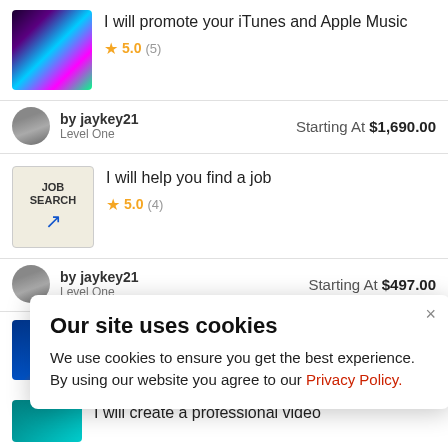I will promote your iTunes and Apple Music
5.0 (5)
by jaykey21
Level One
Starting At $1,690.00
I will help you find a job
5.0 (4)
by jaykey21
Level One
Starting At $497.00
I will do a video promotion campaign
Our site uses cookies
We use cookies to ensure you get the best experience. By using our website you agree to our Privacy Policy.
I will create a professional video